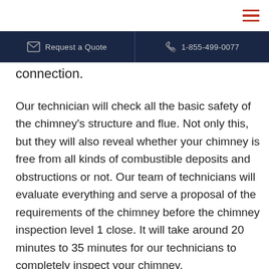≡ (hamburger menu icon)
✉ Request a Quote   📞 1-855-499-0077
connection.
Our technician will check all the basic safety of the chimney's structure and flue. Not only this, but they will also reveal whether your chimney is free from all kinds of combustible deposits and obstructions or not. Our team of technicians will evaluate everything and serve a proposal of the requirements of the chimney before the chimney inspection level 1 close. It will take around 20 minutes to 35 minutes for our technicians to completely inspect your chimney.